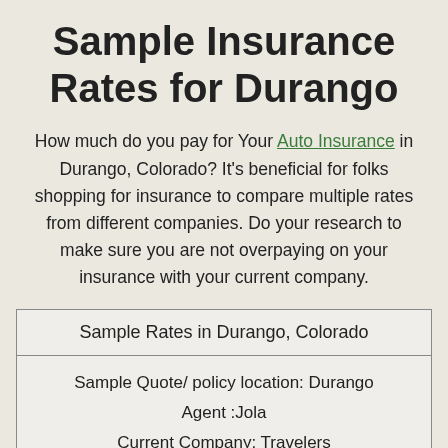Sample Insurance Rates for Durango
How much do you pay for Your Auto Insurance in Durango, Colorado? It's beneficial for folks shopping for insurance to compare multiple rates from different companies. Do your research to make sure you are not overpaying on your insurance with your current company.
| Sample Rates in Durango, Colorado |
| --- |
| Sample Quote/ policy location: Durango
Agent :Jola
Current Company: Travelers |